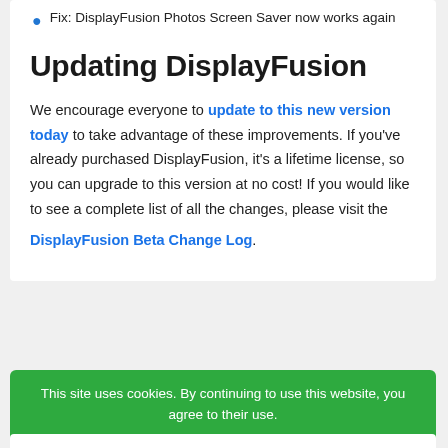Fix: DisplayFusion Photos Screen Saver now works again
Updating DisplayFusion
We encourage everyone to update to this new version today to take advantage of these improvements. If you've already purchased DisplayFusion, it's a lifetime license, so you can upgrade to this version at no cost! If you would like to see a complete list of all the changes, please visit the DisplayFusion Beta Change Log.
This site uses cookies. By continuing to use this website, you agree to their use. I Understand · View Terms of Service